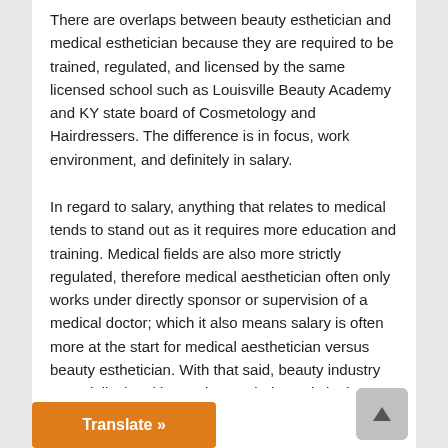There are overlaps between beauty esthetician and medical esthetician because they are required to be trained, regulated, and licensed by the same licensed school such as Louisville Beauty Academy and KY state board of Cosmetology and Hairdressers. The difference is in focus, work environment, and definitely in salary.
In regard to salary, anything that relates to medical tends to stand out as it requires more education and training. Medical fields are also more strictly regulated, therefore medical aesthetician often only works under directly sponsor or supervision of a medical doctor; which it also means salary is often more at the start for medical aesthetician versus beauty esthetician. With that said, beauty industry especially the skincare beauty industry is in the range of $148 Billion in 2020, and it continues to go up according to statista.com. Beauty small business is also quite lucrative and debatably er industries to start. So, salary is